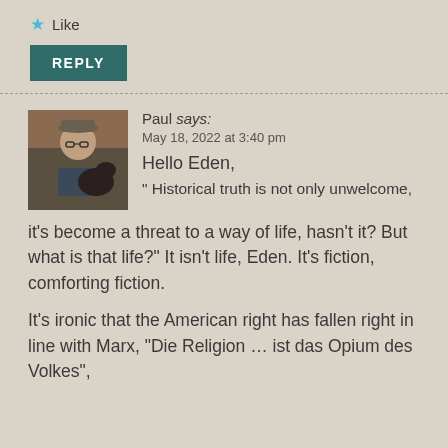★ Like
REPLY
Paul says:
May 18, 2022 at 3:40 pm
[Figure (photo): Avatar photo of Paul, a man with a hat and glasses holding a dark-colored dog outdoors.]
Hello Eden,
" Historical truth is not only unwelcome, it's become a threat to a way of life, hasn't it? But what is that life?" It isn't life, Eden. It's fiction, comforting fiction.

It's ironic that the American right has fallen right in line with Marx, "Die Religion … ist das Opium des Volkes",